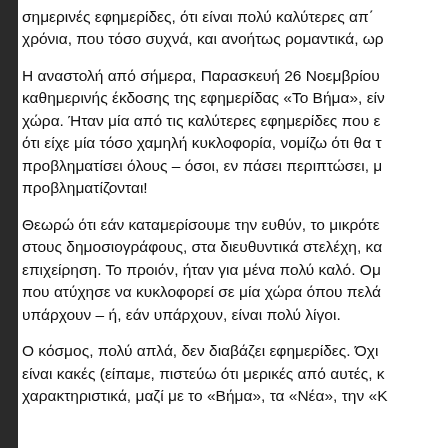σημερινές εφημερίδες, ότι είναι πολύ καλύτερες απ' χρόνια, που τόσο συχνά, και ανοήτως ρομαντικά, ωρ
Η αναστολή από σήμερα, Παρασκευή 26 Νοεμβρίου καθημερινής έκδοσης της εφημερίδας «Το Βήμα», είν χώρα. Ήταν μία από τις καλύτερες εφημερίδες που ε ότι είχε μία τόσο χαμηλή κυκλοφορία, νομίζω ότι θα τ προβληματίσει όλους – όσοι, εν πάσει περιπτώσει, μ προβληματίζονται!
Θεωρώ ότι εάν καταμερίσουμε την ευθύν, το μικρότε στους δημοσιογράφους, στα διευθυντικά στελέχη, κα επιχείρηση. Το προιόν, ήταν για μένα πολύ καλό. Ομ που ατύχησε να κυκλοφορεί σε μία χώρα όπου πελά υπάρχουν – ή, εάν υπάρχουν, είναι πολύ λίγοι.
Ο κόσμος, πολύ απλά, δεν διαβάζει εφημερίδες. Όχι είναι κακές (είπαμε, πιστεύω ότι μερικές από αυτές, κ χαρακτηριστικά, μαζί με το «Βήμα», τα «Νέα», την «Κ